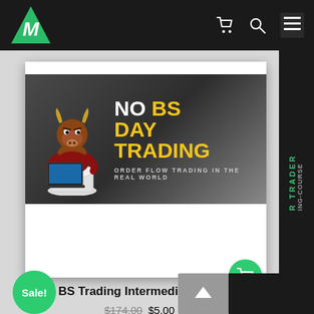[Figure (screenshot): Website navigation bar with dark background, green bull logo on left, cart icon, search icon, and hamburger menu on right]
[Figure (screenshot): Product card showing No BS Day Trading course banner with bull mascot, yellow title text 'NO BS DAY TRADING' and subtitle 'ORDER FLOW TRADING IN THE REAL WORLD' on dark gradient background, white lower section, green cart button]
No BS Trading Intermediate Course
$174.00 $5.00